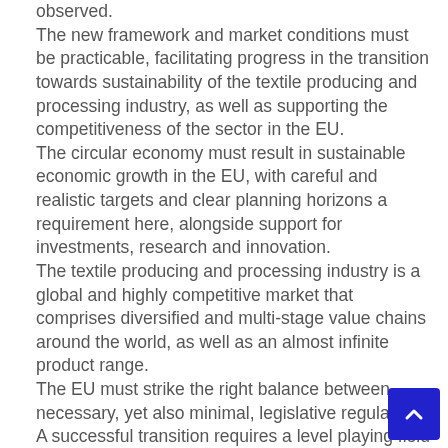observed. The new framework and market conditions must be practicable, facilitating progress in the transition towards sustainability of the textile producing and processing industry, as well as supporting the competitiveness of the sector in the EU. The circular economy must result in sustainable economic growth in the EU, with careful and realistic targets and clear planning horizons a requirement here, alongside support for investments, research and innovation. The textile producing and processing industry is a global and highly competitive market that comprises diversified and multi-stage value chains around the world, as well as an almost infinite product range. The EU must strike the right balance between necessary, yet also minimal, legislative regulation. A successful transition requires a level playing field